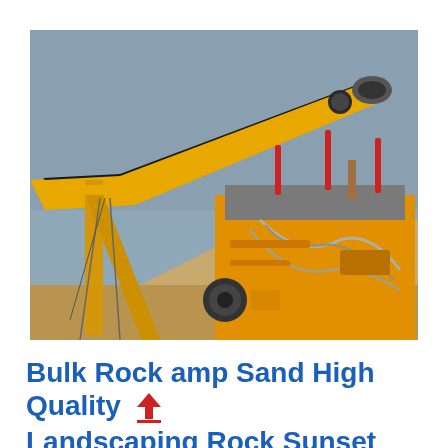[Figure (photo): Industrial yellow conveyor belt equipment and heavy machinery (rock crusher or screening plant) against a hazy sky, with red marker poles on top and cables/hoses visible. Sandy/gravelly material in background. Construction or mining site context.]
Bulk Rock amp Sand High Quality Landscaping Rock Sunset Materials